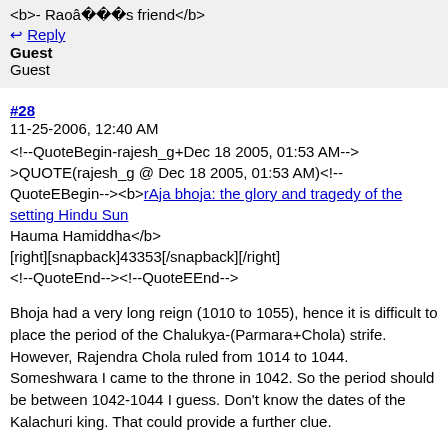<b>- Raoâs friend</b>
↩ Reply
Guest
Guest
#28
11-25-2006, 12:40 AM
<!--QuoteBegin-rajesh_g+Dec 18 2005, 01:53 AM-->QUOTE(rajesh_g @ Dec 18 2005, 01:53 AM)<!--QuoteEBegin--><b>rAja bhoja: the glory and tragedy of the setting Hindu Sun
Hauma Hamiddha</b>
[right][snapback]43353[/snapback][/right]
<!--QuoteEnd--><!--QuoteEEnd-->
Bhoja had a very long reign (1010 to 1055), hence it is difficult to place the period of the Chalukya-(Parmara+Chola) strife. However, Rajendra Chola ruled from 1014 to 1044. Someshwara I came to the throne in 1042. So the period should be between 1042-1044 I guess. Don't know the dates of the Kalachuri king. That could provide a further clue.
A very good article. I think a similar article should be done on the Hindu Shahiyas and their great struggle against Mahmud of